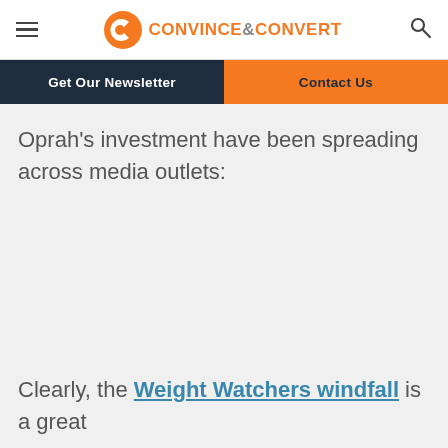CONVINCE&CONVERT
Get Our Newsletter | Contact Us
Oprah’s investment have been spreading across media outlets:
Clearly, the Weight Watchers windfall is a great